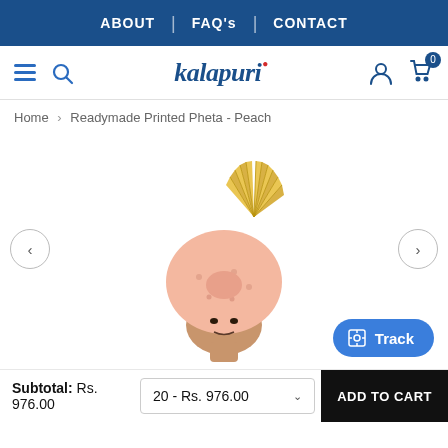ABOUT | FAQ's | CONTACT
kalapuri — navigation bar with hamburger, search, user, cart icons
Home > Readymade Printed Pheta - Peach
[Figure (photo): A man wearing a peach/pink readymade printed pheta (turban) with yellow/golden decorative border fan at the top. The turban is a traditional Indian style with floral print in peach color.]
Subtotal: Rs. 976.00
20 - Rs. 976.00
ADD TO CART